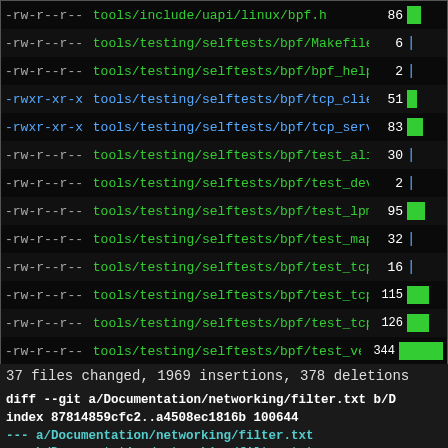| perms | filename | num | bar |
| --- | --- | --- | --- |
| -rw-r--r-- | tools/include/uapi/linux/bpf.h | 86 | █ |
| -rw-r--r-- | tools/testing/selftests/bpf/Makefile | 6 | | |
| -rw-r--r-- | tools/testing/selftests/bpf/bpf_helpers.h | 2 | | |
| -rwxr-xr-x | tools/testing/selftests/bpf/tcp_client.py | 51 | █ |
| -rwxr-xr-x | tools/testing/selftests/bpf/tcp_server.py | 83 | █ |
| -rw-r--r-- | tools/testing/selftests/bpf/test_align.c | 30 | | |
| -rw-r--r-- | tools/testing/selftests/bpf/test_dev_cgroup.c | 2 | | |
| -rw-r--r-- | tools/testing/selftests/bpf/test_lpm_map.c | 95 | █ |
| -rw-r--r-- | tools/testing/selftests/bpf/test_maps.c | 32 | | |
| -rw-r--r-- | tools/testing/selftests/bpf/test_tcpbpf.h | 16 | | |
| -rw-r--r-- | tools/testing/selftests/bpf/test_tcpbpf_kern.c | 115 | █ |
| -rw-r--r-- | tools/testing/selftests/bpf/test_tcpbpf_user.c | 126 | █ |
| -rw-r--r-- | tools/testing/selftests/bpf/test_verifier.c | 344 | ████ |
37 files changed, 1969 insertions, 378 deletions
diff --git a/Documentation/networking/filter.txt b/D
index 87814859cfc2..a4508ec1816b 100644
--- a/Documentation/networking/filter.txt
+++ b/Documentation/networking/filter.txt
@@ -1134,7 +1134,7 @@ The verifier's knowledge about
 mask and value; no bit should ever be 1 in both.  F
 into a register from memory, the register's top 56
 the low 8 are unknown - which is represented as the
-then OR this with 0x40, we get (0x40; 0xcf), then i
+then OR this with 0x40, we get (0x40; 0xbf), then i
 0x1ff), because of potential carries.
 Besides arithmetic, the register state can also